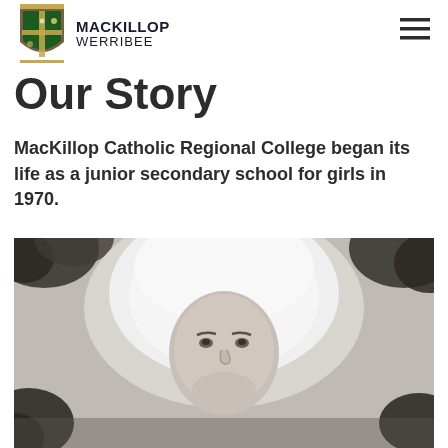MacKillop Werribee
Our Story
MacKillop Catholic Regional College began its life as a junior secondary school for girls in 1970.
[Figure (photo): Black and white historical photograph of a woman wearing a white religious habit/veil, smiling, with foliage visible in the background]